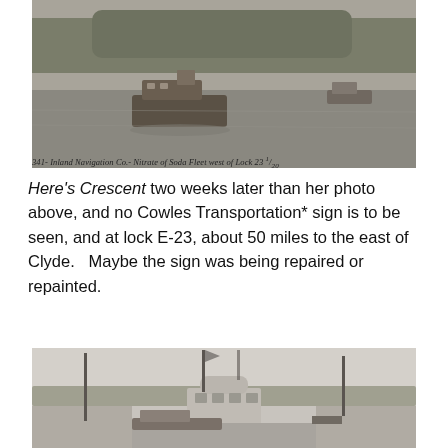[Figure (photo): Black and white historical photograph of a boat on a river with trees in the background and other vessels visible in the distance. Handwritten caption below reads: 341- Inland Navigation Co.- Nitrate of Soda Fleet west of Lock 23 1/20]
341- Inland Navigation Co.- Nitrate of Soda Fleet west of Lock 23 1/20
Here's Crescent two weeks later than her photo above, and no Cowles Transportation* sign is to be seen, and at lock E-23, about 50 miles to the east of Clyde.   Maybe the sign was being repaired or repainted.
[Figure (photo): Black and white historical photograph of a canal lock with tall poles, a lock house building visible in the center background, and a vessel passing through. View appears to be from the deck of a boat approaching the lock.]